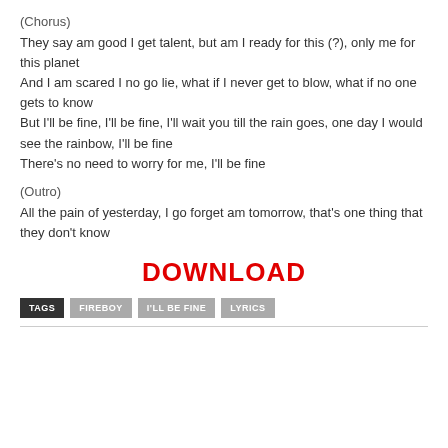(Chorus)
They say am good I get talent, but am I ready for this (?), only me for this planet
And I am scared I no go lie, what if I never get to blow, what if no one gets to know
But I'll be fine, I'll be fine, I'll wait you till the rain goes, one day I would see the rainbow, I'll be fine
There's no need to worry for me, I'll be fine
(Outro)
All the pain of yesterday, I go forget am tomorrow, that's one thing that they don't know
DOWNLOAD
TAGS   FIREBOY   I'LL BE FINE   LYRICS